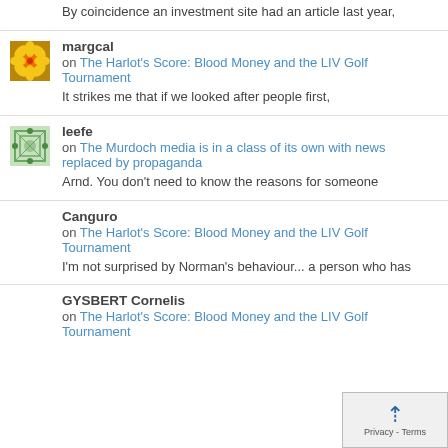By coincidence an investment site had an article last year,
margcal
on The Harlot's Score: Blood Money and the LIV Golf Tournament
It strikes me that if we looked after people first,
leefe
on The Murdoch media is in a class of its own with news replaced by propaganda
Arnd. You don't need to know the reasons for someone
Canguro
on The Harlot's Score: Blood Money and the LIV Golf Tournament
I'm not surprised by Norman's behaviour... a person who has
GYSBERT Cornelis
on The Harlot's Score: Blood Money and the LIV Golf Tournament